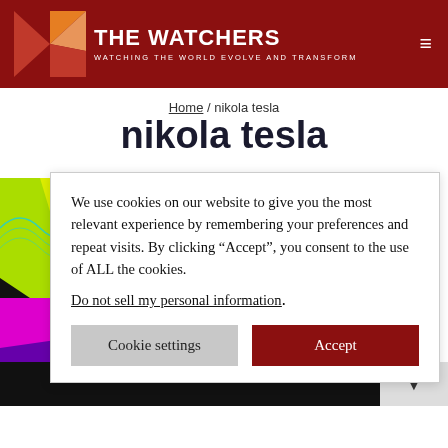THE WATCHERS — WATCHING THE WORLD EVOLVE AND TRANSFORM
Home / nikola tesla
nikola tesla
[Figure (photo): Colorful geometric/wave simulation image with green, yellow, magenta, red, and purple shapes on black background]
We use cookies on our website to give you the most relevant experience by remembering your preferences and repeat visits. By clicking “Accept”, you consent to the use of ALL the cookies.
Do not sell my personal information.